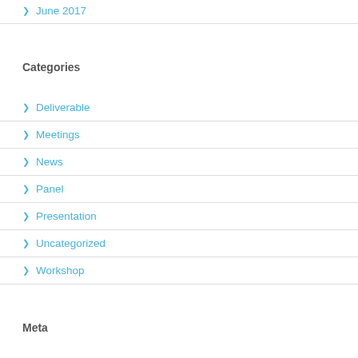> June 2017
Categories
> Deliverable
> Meetings
> News
> Panel
> Presentation
> Uncategorized
> Workshop
Meta